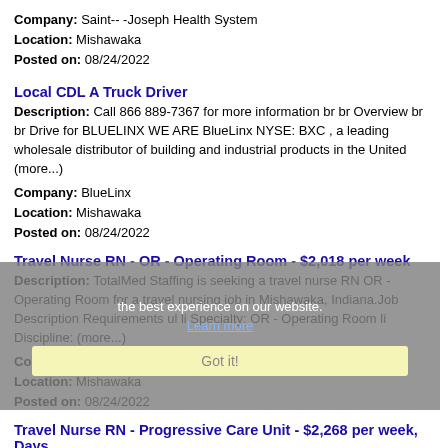Company: Saint-- -Joseph Health System
Location: Mishawaka
Posted on: 08/24/2022
Local CDL A Truck Driver
Description: Call 866 889-7367 for more information br br Overview br br Drive for BLUELINX WE ARE BlueLinx NYSE: BXC , a leading wholesale distributor of building and industrial products in the United (more...)
Company: BlueLinx
Location: Mishawaka
Posted on: 08/24/2022
Travel Nurse RN - OR - Operating Room - $2,018 per week
Description: TotalMed Staffing is seeking a travel nurse RN OR - Operating Room for a travel nursing job in Mishawaka, Indiana.Job Description Requirements ul li Specialty: OR - Operating Room li Discipline: (more...)
Company: TotalMed Staffing
Location: Mishawaka
Posted on: 08/24/2022
Cookie overlay text: the best experience on our website.
Learn more
Got it!
Travel Nurse RN - Progressive Care Unit - $2,268 per week, Days